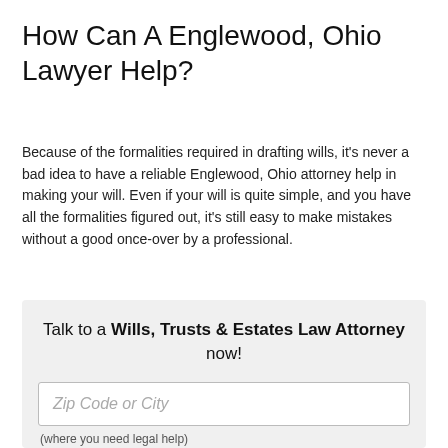How Can A Englewood, Ohio Lawyer Help?
Because of the formalities required in drafting wills, it's never a bad idea to have a reliable Englewood, Ohio attorney help in making your will. Even if your will is quite simple, and you have all the formalities figured out, it's still easy to make mistakes without a good once-over by a professional.
Talk to a Wills, Trusts & Estates Law Attorney now!
Zip Code or City
(where you need legal help)